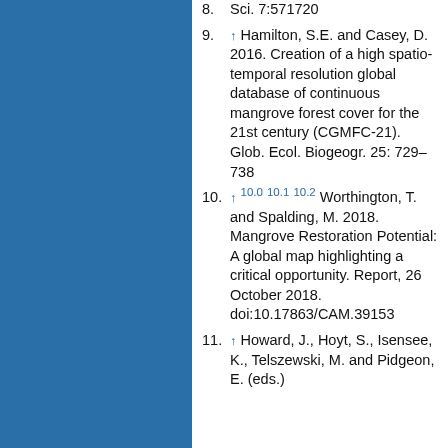Sci. 7:571720
↑ Hamilton, S.E. and Casey, D. 2016. Creation of a high spatio-temporal resolution global database of continuous mangrove forest cover for the 21st century (CGMFC-21). Glob. Ecol. Biogeogr. 25: 729–738
↑ 10.0 10.1 10.2 Worthington, T. and Spalding, M. 2018. Mangrove Restoration Potential: A global map highlighting a critical opportunity. Report, 26 October 2018. doi:10.17863/CAM.39153
↑ Howard, J., Hoyt, S., Isensee, K., Telszewski, M. and Pidgeon, E. (eds.)